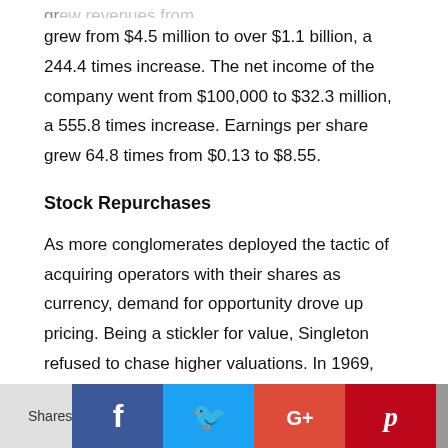grew from $4.5 million to over $1.1 billion, a 244.4 times increase. The net income of the company went from $100,000 to $32.3 million, a 555.8 times increase. Earnings per share grew 64.8 times from $0.13 to $8.55.
Stock Repurchases
As more conglomerates deployed the tactic of acquiring operators with their shares as currency, demand for opportunity drove up pricing. Being a stickler for value, Singleton refused to chase higher valuations. In 1969, Singleton and Roberts decided to
Shares